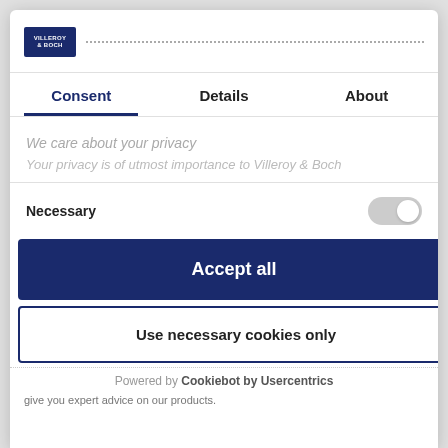[Figure (logo): Villeroy & Boch logo, dark blue rectangle with white text]
Consent | Details | About
We care about your privacy
Your privacy is of utmost importance to Villeroy & Boch
Necessary
Accept all
Use necessary cookies only
Powered by Cookiebot by Usercentrics
give you expert advice on our products.